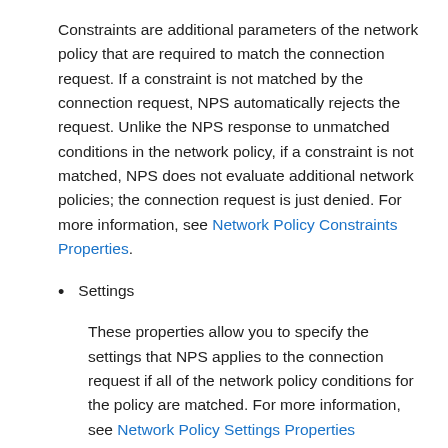Constraints are additional parameters of the network policy that are required to match the connection request. If a constraint is not matched by the connection request, NPS automatically rejects the request. Unlike the NPS response to unmatched conditions in the network policy, if a constraint is not matched, NPS does not evaluate additional network policies; the connection request is just denied. For more information, see Network Policy Constraints Properties.
Settings
These properties allow you to specify the settings that NPS applies to the connection request if all of the network policy conditions for the policy are matched. For more information, see Network Policy Settings Properties